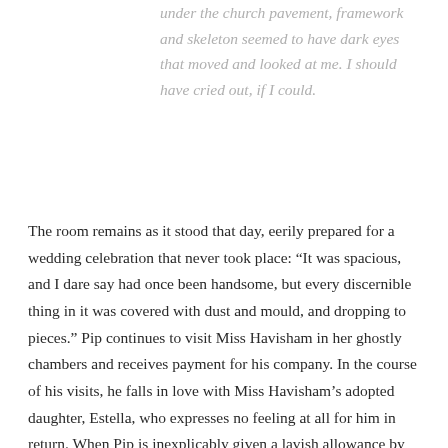under the church pavement, framework and skeleton seemed to have dark eyes that moved and looked at me. I should have cried out, if I could.
The room remains as it stood that day, eerily prepared for a wedding celebration that never took place: “It was spacious, and I dare say had once been handsome, but every discernible thing in it was covered with dust and mould, and dropping to pieces.” Pip continues to visit Miss Havisham in her ghostly chambers and receives payment for his company. In the course of his visits, he falls in love with Miss Havisham’s adopted daughter, Estella, who expresses no feeling at all for him in return. When Pip is inexplicably given a lavish allowance by an anonymous benefactor (he naturally suspects Miss Havisham), he moves to London to educate himself and become a gentleman, to fulfill the “great expectations” of the novel’s title.